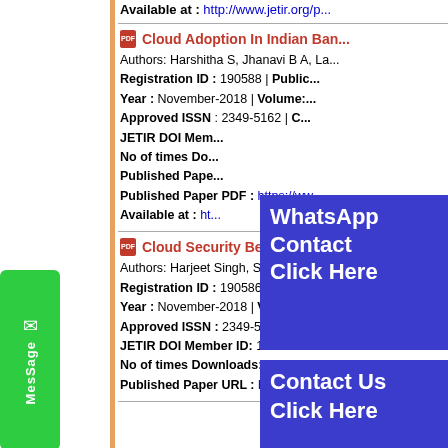Available at : http://www.jetir.org/p...
Cloud Adoption In Indian Ban...
Authors: Harshitha S, Jhanavi B A, La...
Registration ID : 190588 | Public...
Year : November-2018 | Volume:...
Approved ISSN : 2349-5162 | ...
JETIR DOI Member ID:...
No of times Downloads:...
Published Paper URL :...
Published Paper PDF : https://ww...
Available at : ht...
Cloud Security Benefits And ...
Authors: Harjeet Singh, Shwetank, Th...
Registration ID : 190586 | Public...
Year : November-2018 | Volume:...
Approved ISSN : 2349-5162 | Co...
JETIR DOI Member ID: 10.6084/n...
No of times Downloads: 002935...
Published Paper URL : https://ww...